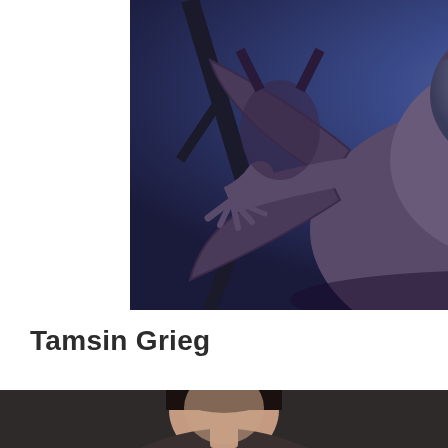[Figure (photo): A Weeping Angel creature from Doctor Who — a stone statue-like monster with wings spread, arms reaching forward with clawed hands, mouth open in a snarl, against a dark blue night sky background.]
Tamsin Grieg
[Figure (photo): Portrait photo of a woman with dark hair pulled back, partially visible at the bottom of the page against a dark blurred background.]